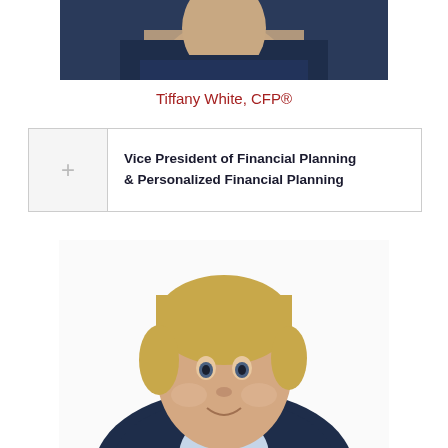[Figure (photo): Cropped professional headshot photo of Tiffany White, showing shoulders and lower part of face, wearing a dark blazer, white background.]
Tiffany White, CFP®
|  | Vice President of Financial Planning & Personalized Financial Planning |
[Figure (photo): Professional headshot of a middle-aged man with blond hair, smiling, wearing a navy blue blazer and light blue collared shirt, white background.]